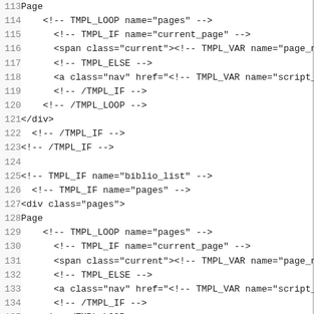Code listing lines 113-144 showing template HTML with TMPL_LOOP, TMPL_IF, TMPL_ELSE, TMPL_VAR directives and HTML elements including div, span, a, table, tr, th tags